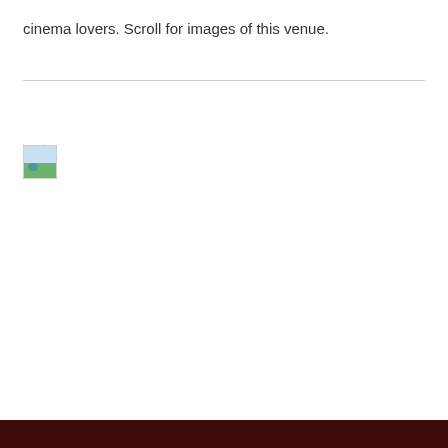cinema lovers. Scroll for images of this venue.
[Figure (other): Broken image placeholder icon (small image with torn corner, green/blue landscape thumbnail)]